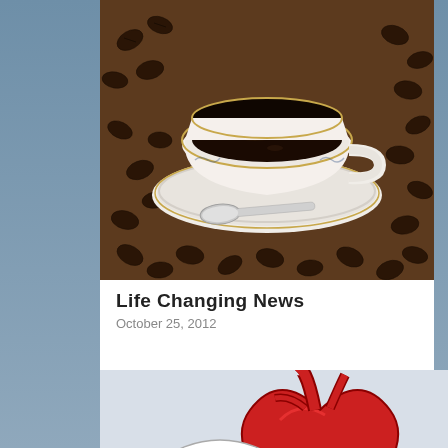[Figure (photo): A white china cup and saucer filled with black coffee, with a spoon, surrounded by scattered coffee beans on a wooden surface.]
Life Changing News
October 25, 2012
[Figure (illustration): Medical illustration showing a heart with coronary arteries labeled, and an inset circle showing a cross-section of an artery with cholesterol plaque buildup labeled.]